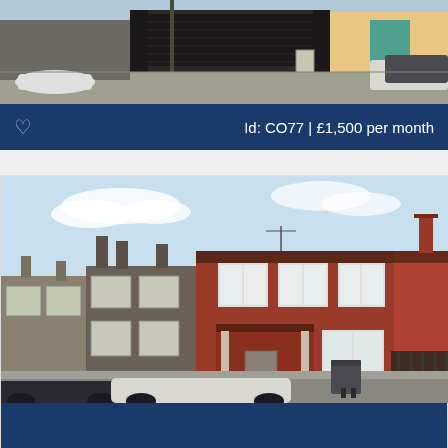[Figure (photo): Exterior photo of a commercial property with dark garage/shutter doors on a street, with cars visible on either side, taken on a sunny day.]
Id: CO77 | £1,500 per month
[Figure (photo): Exterior photo of a row of Victorian terraced houses with red brick facades, white-framed windows, and cars parked in front on a residential street.]